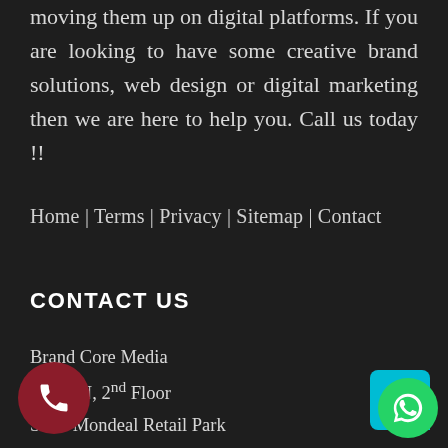moving them up on digital platforms. If you are looking to have some creative brand solutions, web design or digital marketing then we are here to help you. Call us today !!
Home | Terms | Privacy | Sitemap | Contact
CONTACT US
Brand Core Media
Block N, 2nd Floor
Safal Mondeal Retail Park
Nr. Rajpath Club, Bodakdev
SG Highway, Ahmedabad – 380 015
Call: 098-2588-1913
[Figure (illustration): Dark red circular phone call button with white phone handset icon]
[Figure (illustration): Teal square with rounded corner and green circle WhatsApp icon button]